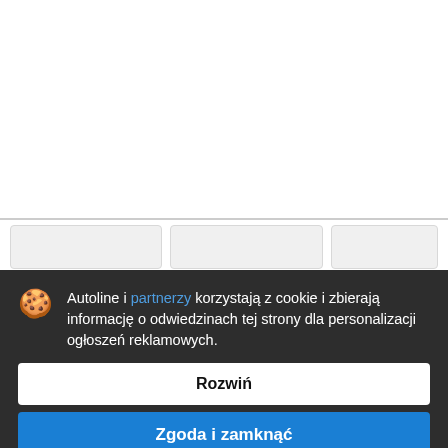[Figure (screenshot): White webpage background area visible at the top of the page, with a horizontal divider line and three card stubs partially visible.]
Autoline i partnerzy korzystają z cookie i zbierają informację o odwiedzinach tej strony dla personalizacji ogłoszeń reklamowych.
Rozwiń
Zgoda i zamknąć